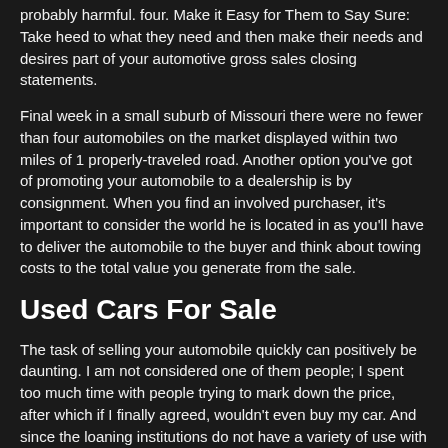probably harmful. four. Make it Easy for Them to Say Sure: Take heed to what they need and then make their needs and desires part of your automotive gross sales closing statements.
Final week in a small suburb of Missouri there were no fewer than four automobiles on the market displayed within two miles of 1 properly-traveled road. Another option you've got of promoting your automobile to a dealership is by consignment. When you find an involved purchaser, it's important to consider the world he is located in as you'll have to deliver the automobile to the buyer and think about towing costs to the total value you generate from the sale.
Used Cars For Sale
The task of selling your automobile quickly can positively be daunting. I am not considered one of them people; I spent too much time with people trying to mark down the price, after which if I finally agreed, wouldn't even buy my car. And since the loaning institutions do not have a variety of use with all of the reclaimed cars, they promote them at large worth reductions to accelerate the process of getting them dispatched.
Many buyers on Craigslist aren't avid internet customers. One place to search out race automobiles for sale are in free categorised adverts. A reasonably new concept within the marketplace is promoting it direct to large automotive shopping for corporations. In the event you demand